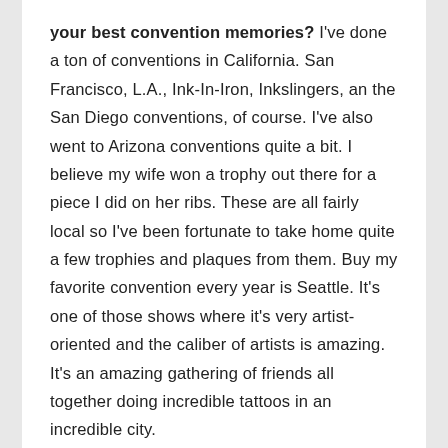your best convention memories? I've done a ton of conventions in California. San Francisco, L.A., Ink-In-Iron, Inkslingers, an the San Diego conventions, of course. I've also went to Arizona conventions quite a bit. I believe my wife won a trophy out there for a piece I did on her ribs. These are all fairly local so I've been fortunate to take home quite a few trophies and plaques from them. Buy my favorite convention every year is Seattle. It's one of those shows where it's very artist-oriented and the caliber of artists is amazing. It's an amazing gathering of friends all together doing incredible tattoos in an incredible city.